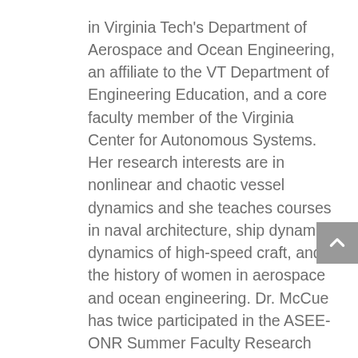in Virginia Tech's Department of Aerospace and Ocean Engineering, an affiliate to the VT Department of Engineering Education, and a core faculty member of the Virginia Center for Autonomous Systems. Her research interests are in nonlinear and chaotic vessel dynamics and she teaches courses in naval architecture, ship dynamics, dynamics of high-speed craft, and the history of women in aerospace and ocean engineering. Dr. McCue has twice participated in the ASEE-ONR Summer Faculty Research Program to pursue her research in collaboration with researchers at the Carderock Division of the Naval Surface Warfare Center and is currently on sabbatical for the 2011-2012 academic year with the Combatant Craft Division of the Naval Surface Warfare Center, Carderock. Dr. McCue received her BSE degree in Mechanical and Aerospace Engineering in 2000 from Princeton University. She earned her graduate degrees from the University of